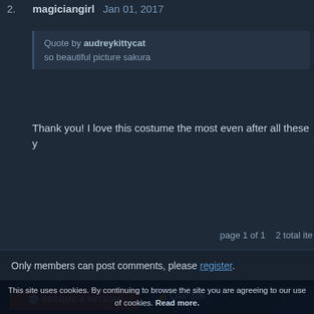2. magiciangirl Jan 01, 2017
Quote by audreykittycat
so beautiful picture sakura
Thank you! I love this costume the most even after all these y
page 1 of 1   2 total ite
Only members can post comments, please register.
This site uses cookies. By continuing to browse the site you are agreeing to our use of cookies. Read more.